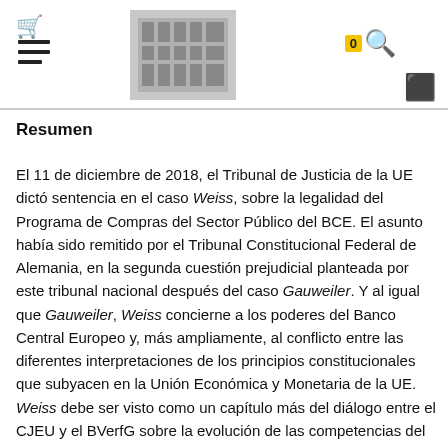Navigation header with cart, hamburger menu, institutional logo, search (badge: 0), and login icons
Resumen
El 11 de diciembre de 2018, el Tribunal de Justicia de la UE dictó sentencia en el caso Weiss, sobre la legalidad del Programa de Compras del Sector Público del BCE. El asunto había sido remitido por el Tribunal Constitucional Federal de Alemania, en la segunda cuestión prejudicial planteada por este tribunal nacional después del caso Gauweiler. Y al igual que Gauweiler, Weiss concierne a los poderes del Banco Central Europeo y, más ampliamente, al conflicto entre las diferentes interpretaciones de los principios constitucionales que subyacen en la Unión Económica y Monetaria de la UE. Weiss debe ser visto como un capítulo más del diálogo entre el CJEU y el BVerfG sobre la evolución de las competencias del BCE y, en general, sobre los cambios estructurales en la UEM que se han producido